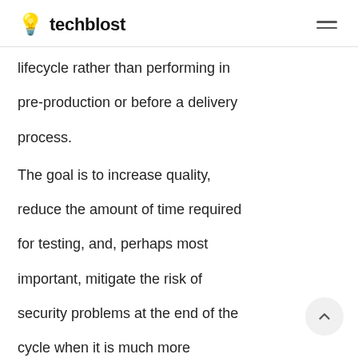💡 techblost
lifecycle rather than performing in pre-production or before a delivery process.
The goal is to increase quality, reduce the amount of time required for testing, and, perhaps most important, mitigate the risk of security problems at the end of the cycle when it is much more